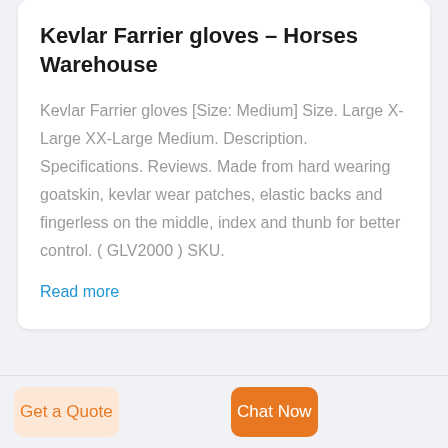Kevlar Farrier gloves – Horses Warehouse
Kevlar Farrier gloves [Size: Medium] Size. Large X-Large XX-Large Medium. Description. Specifications. Reviews. Made from hard wearing goatskin, kevlar wear patches, elastic backs and fingerless on the middle, index and thunb for better control. ( GLV2000 ) SKU.
Read more
Get a Quote
Chat Now